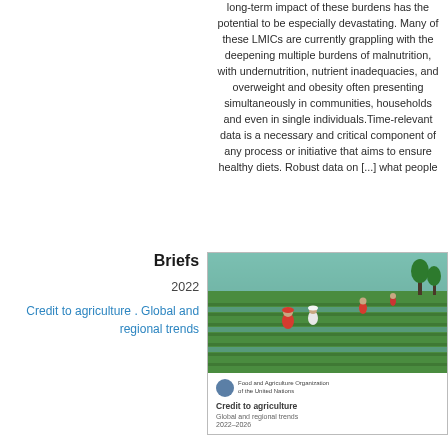long-term impact of these burdens has the potential to be especially devastating. Many of these LMICs are currently grappling with the deepening multiple burdens of malnutrition, with undernutrition, nutrient inadequacies, and overweight and obesity often presenting simultaneously in communities, households and even in single individuals.Time-relevant data is a necessary and critical component of any process or initiative that aims to ensure healthy diets. Robust data on [...] what people
Briefs
2022
Credit to agriculture . Global and regional trends
[Figure (photo): Cover of FAO publication 'Credit to agriculture: Global and regional trends 2022-2026' showing workers in green agricultural field]